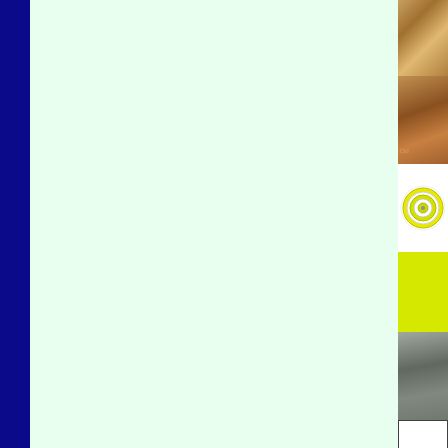[Figure (other): Dark navy blue vertical bar on the left side of the page]
[Figure (other): Large light mint/pale green blank content area in the center]
[Figure (photo): Thumbnail image 1: golden-brown textured surface, top of right sidebar]
[Figure (photo): Thumbnail image 2: warm brown textured surface with small text 'Chil...' at bottom, second in right sidebar]
[Figure (logo): Thumbnail image 3: circular concentric target/vinyl record design in yellow and gray on white background]
[Figure (photo): Thumbnail image 4: bright yellow-green/lime solid color block]
[Figure (photo): Thumbnail image 5: gray muted monochrome photo]
[Figure (other): Thumbnail image 6: white rectangle with dark border, bottom of right sidebar]